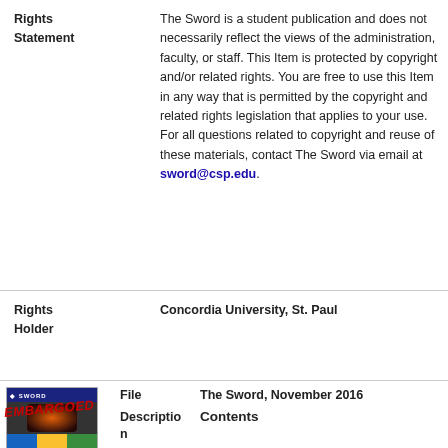Rights Statement: The Sword is a student publication and does not necessarily reflect the views of the administration, faculty, or staff. This Item is protected by copyright and/or related rights. You are free to use this Item in any way that is permitted by the copyright and related rights legislation that applies to your use. For all questions related to copyright and reuse of these materials, contact The Sword via email at sword@csp.edu.
Rights Holder: Concordia University, St. Paul
File: The Sword, November 2016
Description: Contents
[Figure (photo): Thumbnail of The Sword publication cover with EMBARGOED watermark in red]